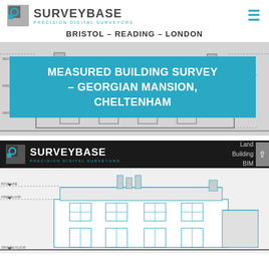[Figure (logo): SurveyBase logo with precision digital surveyors tagline and hamburger menu icon]
BRISTOL – READING – LONDON
[Figure (engineering-diagram): Measured building elevation drawing of a Georgian mansion in line art style with blue overlay title: MEASURED BUILDING SURVEY – GEORGIAN MANSION, CHELTENHAM]
[Figure (logo): SurveyBase dark banner logo with Land, Building, BIM navigation and arrow]
[Figure (engineering-diagram): Architectural elevation drawing of a two-storey Georgian mansion with chimneys and windows, shown in blue and white line art]